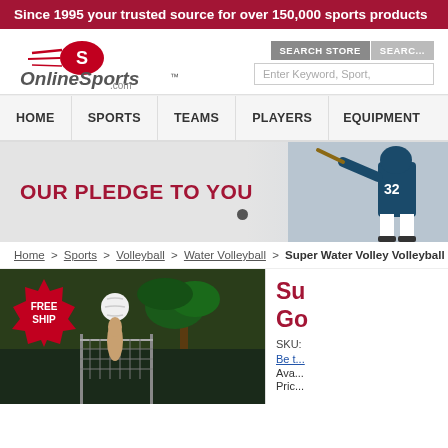Since 1995 your trusted source for over 150,000 sports products
[Figure (logo): OnlineSports.com logo with stylized S in red oval and speed lines]
[Figure (screenshot): Search store tab and search input field with placeholder 'Enter Keyword, Sport,']
HOME | SPORTS | TEAMS | PLAYERS | EQUIPMENT
[Figure (photo): Hero banner reading OUR PLEDGE TO YOU with baseball player batting on right side]
Home > Sports > Volleyball > Water Volleyball > Super Water Volley Volleyball S
[Figure (photo): Product photo of water volleyball game set with FREE SHIP badge, player hitting ball over net near pool with palm trees]
Su... Go...
SKU:
Be t...
Ava...
Pric...